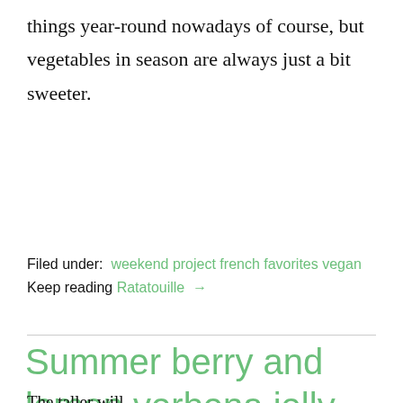things year-round nowadays of course, but vegetables in season are always just a bit sweeter.
Filed under:  weekend project french favorites vegan
Keep reading Ratatouille →
Summer berry and lemon verbena jelly
The taller will...